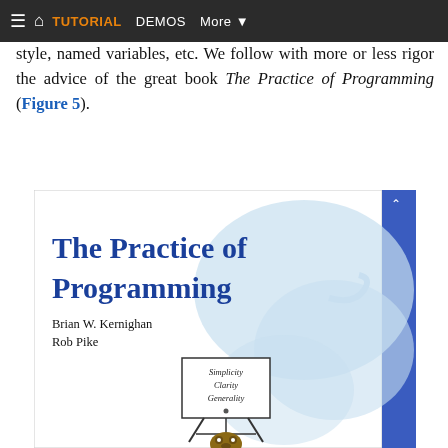readable and less cryptic as possible. We could enrich the style, named variables, etc. We follow with more or less rigor the advice of the great book The Practice of Programming (Figure 5).
style, named variables, etc. We follow with more or less rigor the advice of the great book The Practice of Programming (Figure 5).
[Figure (photo): Book cover of 'The Practice of Programming' by Brian W. Kernighan and Rob Pike. Addison-Wesley Professional Computing Series. Cover shows the book title in blue serif font, authors' names, and an illustration of a cat-like figure pointing to a whiteboard displaying 'Simplicity Clarity Generality' with a small bear/animal figure below. Blue spine on right side.]